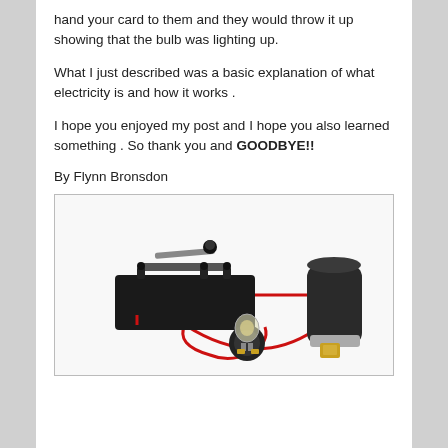hand your card to them and they would throw it up showing that the bulb was lighting up.
What I just described was a basic explanation of what electricity is and how it works .
I hope you enjoyed my post and I hope you also learned something . So thank you and GOODBYE!!
By Flynn Bronsdon
[Figure (photo): Photo of an electrical circuit demonstration kit showing a telegraph key switch (black device) connected by red wires to a battery holder and a light bulb socket, forming a simple circuit.]